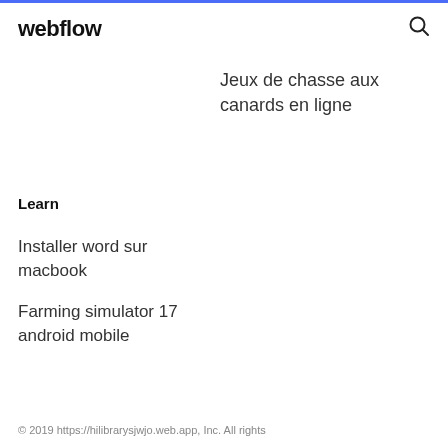webflow
Jeux de chasse aux canards en ligne
Learn
Installer word sur macbook
Farming simulator 17 android mobile
© 2019 https://hilibrarysjwjo.web.app, Inc. All rights